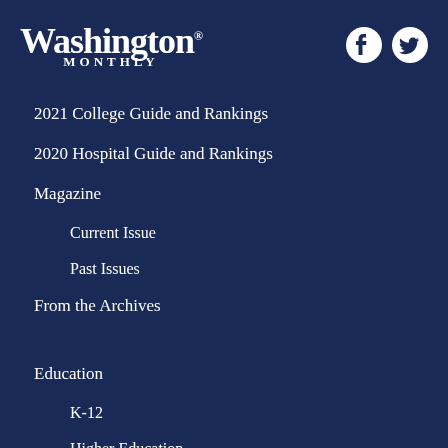Washington Monthly
2021 College Guide and Rankings
2020 Hospital Guide and Rankings
Magazine
Current Issue
Past Issues
From the Archives
Education
K-12
Higher Education